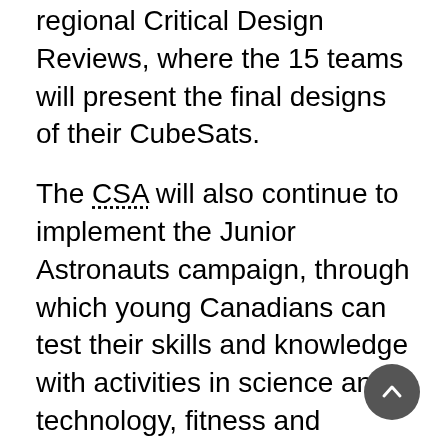regional Critical Design Reviews, where the 15 teams will present the final designs of their CubeSats.
The CSA will also continue to implement the Junior Astronauts campaign, through which young Canadians can test their skills and knowledge with activities in science and technology, fitness and nutrition, and teamwork and communications. Selected participating schools and youth organizations will be visited by astronauts and space experts in the spring of 2020. In addition, participating students in grades 6